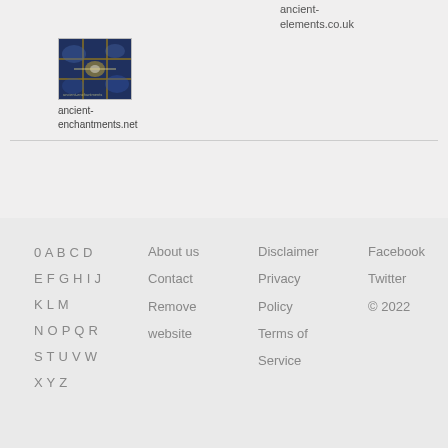ancient-elements.co.uk
[Figure (photo): Thumbnail image with dark blue and golden grid pattern overlay]
ancient-enchantments.net
0 A B C D  E F G H I J  K L M  N O P Q R  S T U V W  X Y Z  |  About us  Contact  Remove website  |  Disclaimer  Privacy Policy  Terms of Service  |  Facebook  Twitter  © 2022